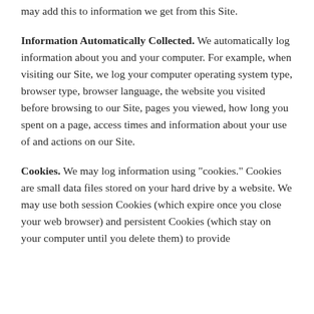may add this to information we get from this Site.
Information Automatically Collected. We automatically log information about you and your computer. For example, when visiting our Site, we log your computer operating system type, browser type, browser language, the website you visited before browsing to our Site, pages you viewed, how long you spent on a page, access times and information about your use of and actions on our Site.
Cookies. We may log information using "cookies." Cookies are small data files stored on your hard drive by a website. We may use both session Cookies (which expire once you close your web browser) and persistent Cookies (which stay on your computer until you delete them) to provide